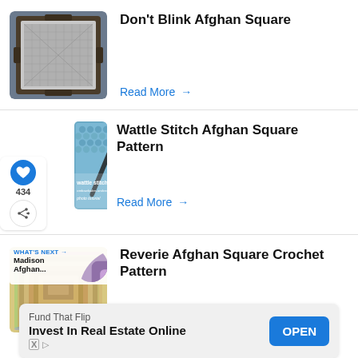[Figure (photo): Cross-stitch or needlework Afghan square in a wooden frame, white/gray thread pattern on dark fabric showing geometric design]
Don't Blink Afghan Square
Read More →
[Figure (photo): Blue crochet wattle stitch fabric with a crochet hook, with text overlay 'wattle stitch' and website URL]
Wattle Stitch Afghan Square Pattern
Read More →
[Figure (photo): Partially visible crochet Afghan square with colorful yarn in squares/rounds pattern]
Reverie Afghan Square Crochet Pattern
Fund That Flip
Invest In Real Estate Online
OPEN